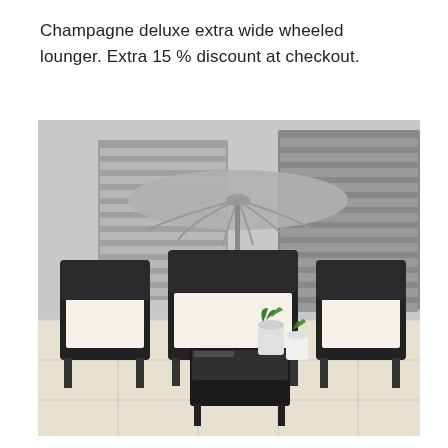Champagne deluxe extra wide wheeled lounger. Extra 15 % discount at checkout.
[Figure (photo): Outdoor rattan garden furniture set consisting of two single chairs and a two-seat sofa with cream cushions, a glass-top coffee table, two potted plants, and a grey parasol umbrella, arranged on a light stone patio in front of grey louvred shutters.]